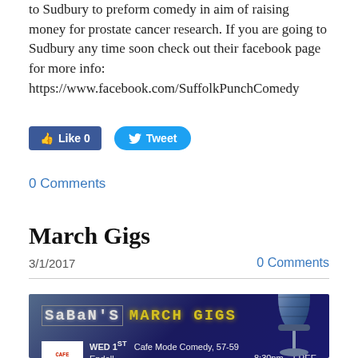to Sudbury to preform comedy in aim of raising money for prostate cancer research. If you are going to Sudbury any time soon check out their facebook page for more info: https://www.facebook.com/SuffolkPunchComedy
[Figure (screenshot): Facebook Like button showing 'Like 0' and Twitter Tweet button]
0 Comments
March Gigs
3/1/2017
0 Comments
[Figure (infographic): Saban's March Gigs promotional banner. Shows venue listings: WED 1st - Cafe Mode Comedy, 57-59 Endell Street, Covent Garden, WC2H, 8:30pm, FREE. THU 2nd - The Water Poet, 9-11 Flogate Street, London, E1 6BX, 7pm, FREE. Features a microphone graphic on the right side.]